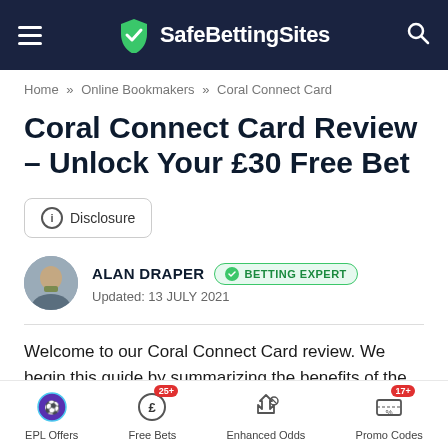SafeBettingSites
Home » Online Bookmakers » Coral Connect Card
Coral Connect Card Review – Unlock Your £30 Free Bet
Disclosure
ALAN DRAPER   BETTING EXPERT
Updated: 13 JULY 2021
Welcome to our Coral Connect Card review. We begin this guide by summarizing the benefits of the Coral Connect Card and explaining its relation to the Connect mobile app. Next, we show you how to claim your Card and its practical
EPL Offers   Free Bets 25+   Enhanced Odds   Promo Codes 17+